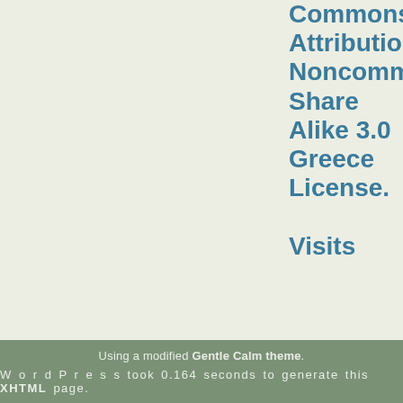Commons Attribution-Noncommercial-Share Alike 3.0 Greece License.

Visits
Using a modified Gentle Calm theme.
W o r d P r e s s took 0.164 seconds to generate this XHTML page.